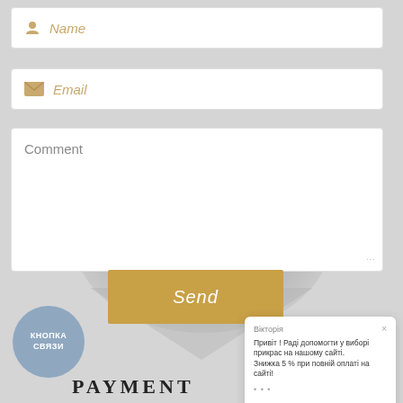Name
Email
Comment
Send
КНОПКА СВЯЗИ
Вікторія
Привіт ! Раді допомогти у виборі прикрас на нашому сайті.
Знижка 5 % при повній оплаті на сайті!
•••
PAYMENT